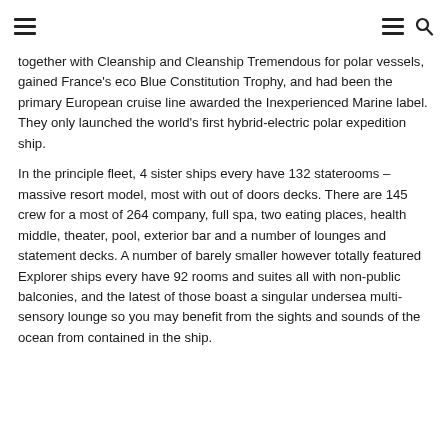[navigation icons: hamburger menu, hamburger menu, search]
together with Cleanship and Cleanship Tremendous for polar vessels, gained France's eco Blue Constitution Trophy, and had been the primary European cruise line awarded the Inexperienced Marine label. They only launched the world's first hybrid-electric polar expedition ship.
In the principle fleet, 4 sister ships every have 132 staterooms – massive resort model, most with out of doors decks. There are 145 crew for a most of 264 company, full spa, two eating places, health middle, theater, pool, exterior bar and a number of lounges and statement decks. A number of barely smaller however totally featured Explorer ships every have 92 rooms and suites all with non-public balconies, and the latest of those boast a singular undersea multi-sensory lounge so you may benefit from the sights and sounds of the ocean from contained in the ship.